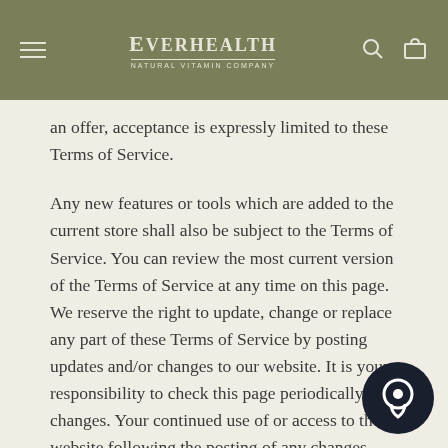Everhealth Natural Vitamin Company
an offer, acceptance is expressly limited to these Terms of Service.
Any new features or tools which are added to the current store shall also be subject to the Terms of Service. You can review the most current version of the Terms of Service at any time on this page. We reserve the right to update, change or replace any part of these Terms of Service by posting updates and/or changes to our website. It is your responsibility to check this page periodically for changes. Your continued use of or access to the website following the posting of any changes constitutes acceptance of these changes.
Our store is hosted on Shopify Inc. They provide us with